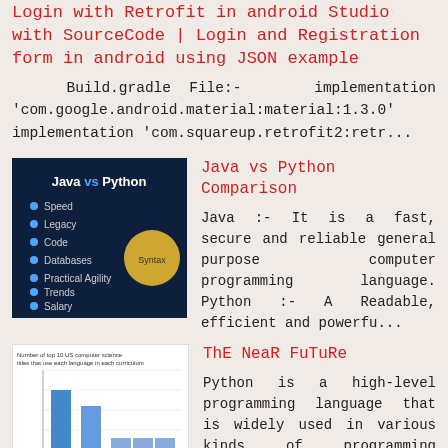Login with Retrofit in android Studio with SourceCode | Login and Registration form in android using JSON example
Build.gradle File:-    implementation 'com.google.android.material:material:1.3.0' implementation 'com.squareup.retrofit2:retr...
[Figure (illustration): Java vs Python comparison graphic with dark blue background showing Java vs Python text and bullet points for Speed, Legacy, Code, Databases, Practical Agility, Trends, Salary, Syntax]
Java vs Python Comparison
Java :- It is a fast, secure and reliable general purpose computer programming language. Python :- A Readable, efficient and powerfu...
[Figure (bar-chart): Bar chart showing Number of top 10 US computer science titles that use each language in each curriculum. Shows Python, Java, MATLAB, C, C++ bars]
ThE NeaR FuTuRe
Python is a high-level programming language that is widely used in various kinds of programming activities. Python is known for its objec...